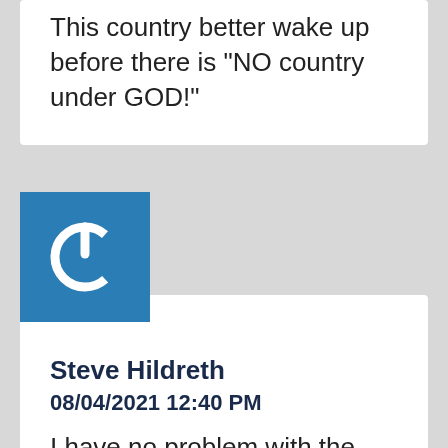This country better wake up before there is "NO country under GOD!"
[Figure (logo): Blue square avatar with white power button icon]
Steve Hildreth
08/04/2021 12:40 PM
I have no problem with the Fed controlling immigration,